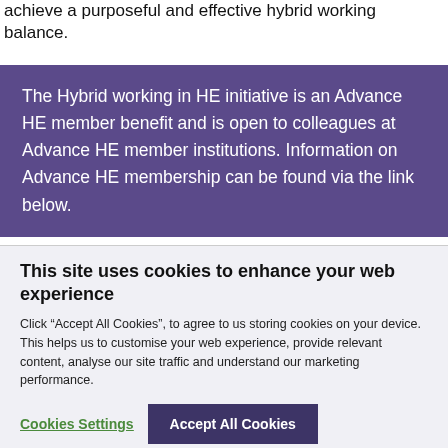achieve a purposeful and effective hybrid working balance.
The Hybrid working in HE initiative is an Advance HE member benefit and is open to colleagues at Advance HE member institutions. Information on Advance HE membership can be found via the link below.
This site uses cookies to enhance your web experience
Click “Accept All Cookies”, to agree to us storing cookies on your device. This helps us to customise your web experience, provide relevant content, analyse our site traffic and understand our marketing performance.
Cookies Settings
Accept All Cookies